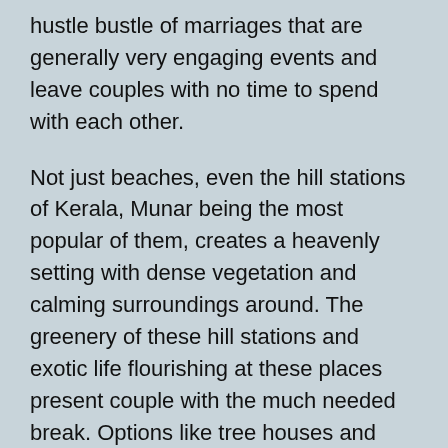hustle bustle of marriages that are generally very engaging events and leave couples with no time to spend with each other.
Not just beaches, even the hill stations of Kerala, Munar being the most popular of them, creates a heavenly setting with dense vegetation and calming surroundings around. The greenery of these hill stations and exotic life flourishing at these places present couple with the much needed break. Options like tree houses and houseboats to stay along with resorts equipped with all kinds of modern facilities promises to make your honeymoon even more special and memorable.